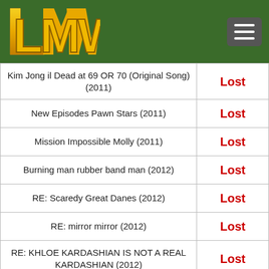LMW logo with hamburger menu on dark green background
| Title | Result |
| --- | --- |
| Kim Jong il Dead at 69 OR 70 (Original Song) (2011) | Lost |
| New Episodes Pawn Stars (2011) | Lost |
| Mission Impossible Molly (2011) | Lost |
| Burning man rubber band man (2012) | Lost |
| RE: Scaredy Great Danes (2012) | Lost |
| RE: mirror mirror (2012) | Lost |
| RE: KHLOE KARDASHIAN IS NOT A REAL KARDASHIAN (2012) | Lost |
| RE: Puppy Totally Pumped About Eating (2012) | Lost |
| RE: World's Coolest Flight Attendant (2012) | Lost |